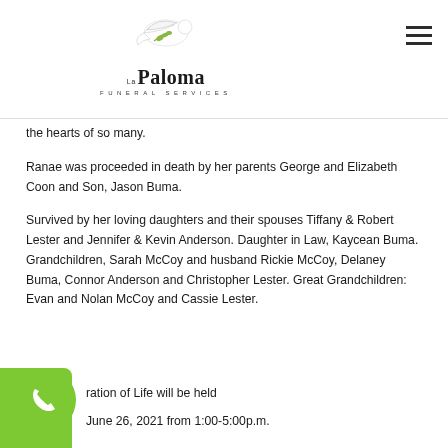[Figure (logo): La Paloma Funeral Services logo with a white dove and olive branch above stylized text reading 'La Paloma FUNERAL SERVICES']
the hearts of so many.
Ranae was proceeded in death by her parents George and Elizabeth Coon and Son, Jason Buma.
Survived by her loving daughters and their spouses Tiffany & Robert Lester and Jennifer & Kevin Anderson. Daughter in Law, Kaycean Buma. Grandchildren, Sarah McCoy and husband Rickie McCoy, Delaney Buma, Connor Anderson and Christopher Lester. Great Grandchildren: Evan and Nolan McCoy and Cassie Lester.
ration of Life will be held
June 26, 2021 from 1:00-5:00p.m.